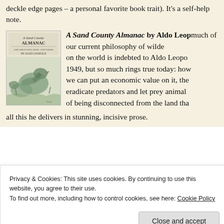deckle edge pages – a personal favorite book trait). It's a self-help note.
[Figure (illustration): Book cover of 'A Sand County Almanac' by Aldo Leopold, featuring a green illustrated drawing of birds (geese/ducks) on the cover with the title text.]
A Sand County Almanac by Aldo Leopold — much of our current philosophy of wilderness and our view on the world is indebted to Aldo Leopold. Written in 1949, but so much rings true today: how we can put an economic value on it, the folly of trying to eradicate predators and let prey animals run free, the danger of being disconnected from the land that sustains us – all this he delivers in stunning, incisive prose.
all this he delivers in stunning, incisive prose.
Privacy & Cookies: This site uses cookies. By continuing to use this website, you agree to their use.
To find out more, including how to control cookies, see here: Cookie Policy
Close and accept